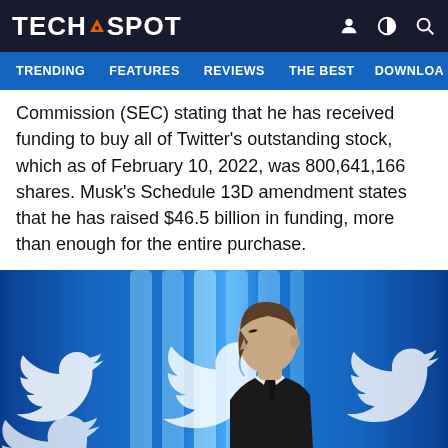TECHSPOT
TRENDING   FEATURES   REVIEWS   THE BEST   DOWNLOA
Commission (SEC) stating that he has received funding to buy all of Twitter's outstanding stock, which as of February 10, 2022, was 800,641,166 shares. Musk's Schedule 13D amendment states that he has raised $46.5 billion in funding, more than enough for the entire purchase.
[Figure (photo): Elon Musk side profile portrait against a blue background with Twitter bird logos]